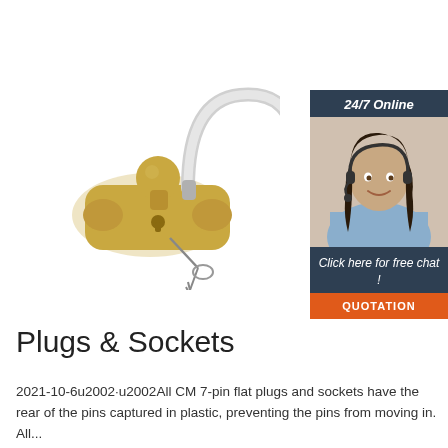[Figure (photo): Yellow hitch ball lock with chrome shackle and keys, on white background]
[Figure (infographic): 24/7 Online chat widget with photo of female customer service agent wearing headset, and orange QUOTATION button]
Plugs & Sockets
2021-10-6u2002·u2002All CM 7-pin flat plugs and sockets have the rear of the pins captured in plastic, preventing the pins from moving in. All...